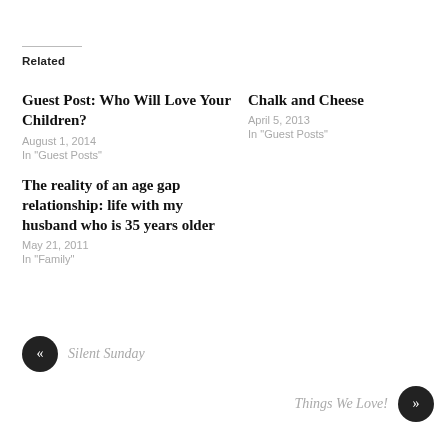Related
Guest Post: Who Will Love Your Children?
August 1, 2014
In "Guest Posts"
Chalk and Cheese
April 5, 2013
In "Guest Posts"
The reality of an age gap relationship: life with my husband who is 35 years older
May 21, 2011
In "Family"
« Silent Sunday
Things We Love! »